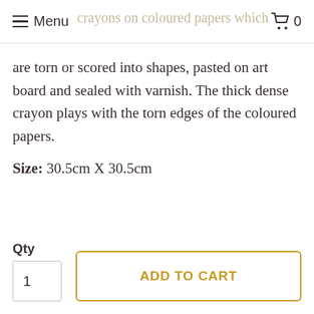Menu  0
crayons on coloured papers which are torn or scored into shapes, pasted on art board and sealed with varnish. The thick dense crayon plays with the torn edges of the coloured papers.
Size: 30.5cm X 30.5cm
Qty  1
ADD TO CART